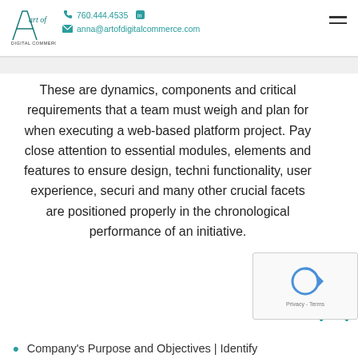760.444.4535 | anna@artofdigitalcommerce.com | Art of Digital Commerce
These are dynamics, components and critical requirements that a team must weigh and plan for when executing a web-based platform project. Pay close attention to essential modules, elements and features to ensure design, techni functionality, user experience, securi and many other crucial facets are positioned properly in the chronological performance of an initiative.
Company's Purpose and Objectives | Identify